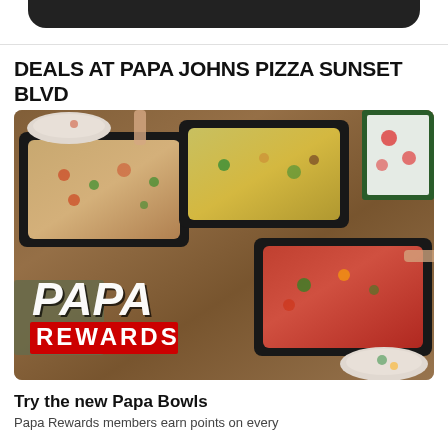DEALS AT PAPA JOHNS PIZZA SUNSET BLVD
[Figure (photo): Photo of multiple Papa Bowls food items in black trays on a wooden table, with a 'PAPA REWARDS' text overlay in white and red]
Try the new Papa Bowls